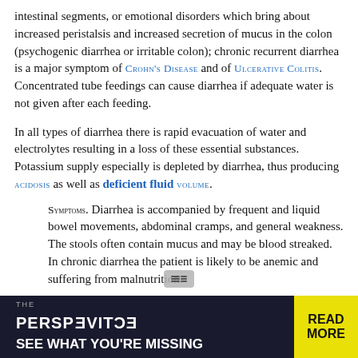intestinal segments, or emotional disorders which bring about increased peristalsis and increased secretion of mucus in the colon (psychogenic diarrhea or irritable colon); chronic recurrent diarrhea is a major symptom of CROHN'S DISEASE and of ULCERATIVE COLITIS. Concentrated tube feedings can cause diarrhea if adequate water is not given after each feeding.
In all types of diarrhea there is rapid evacuation of water and electrolytes resulting in a loss of these essential substances. Potassium supply especially is depleted by diarrhea, thus producing ACIDOSIS as well as deficient fluid VOLUME.
SYMPTOMS. Diarrhea is accompanied by frequent and liquid bowel movements, abdominal cramps, and general weakness. The stools often contain mucus and may be blood streaked. In chronic diarrhea the patient is likely to be anemic and suffering from malnutrition.
TREATMENT. Mild cases of diarrhea of short duration can be treated conservatively with a bland diet, increased intake of liquids, and the administration of kaolin-pectin compounds to relieve the symptoms. Medicines are sometimes used to decrease peristalsis and relieve cramps. More severe and chronic cases can be symptomatic of a wide variety of diseases, including...
[Figure (other): Advertisement banner: THE PERSPECTIVE - SEE WHAT YOU'RE MISSING - READ MORE]